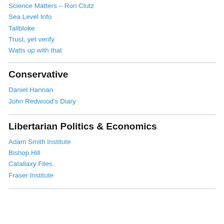Science Matters – Ron Clutz
Sea Level Info
Tallbloke
Trust, yet verify
Watts up with that
Conservative
Daniel Hannan
John Redwood's Diary
Libertarian Politics & Economics
Adam Smith Institute
Bishop Hill
Catallaxy Files
Fraser Institute